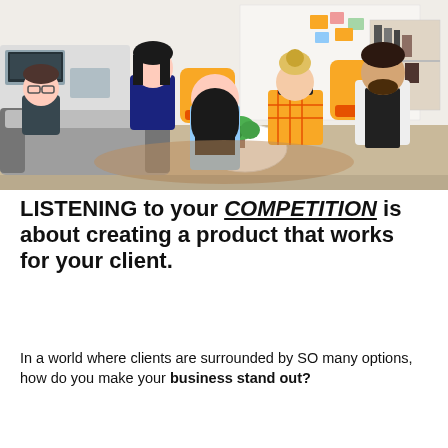[Figure (photo): A group of five people sitting in a modern bright office lounge having a meeting. Some sit on grey sofas and others on yellow armchairs. There is a white round coffee table in the center with a plant on it. Sticky notes are visible on a whiteboard in the background.]
LISTENING to your COMPETITION is about creating a product that works for your client.
In a world where clients are surrounded by SO many options, how do you make your business stand out?